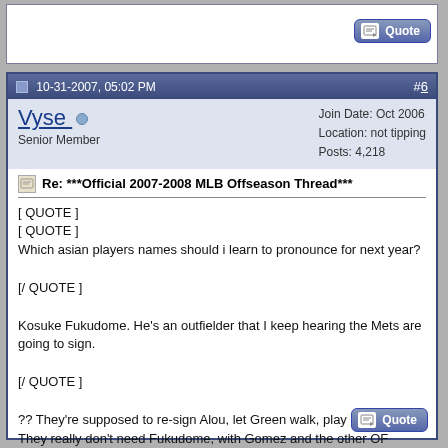10-31-2007, 05:02 PM | #6
Vyse
Senior Member
Join Date: Oct 2006
Location: not tipping
Posts: 4,218
Re: ***Official 2007-2008 MLB Offseason Thread***
[ QUOTE ]
[ QUOTE ]
Which asian players names should i learn to pronounce for next year?

[/ QUOTE ]

Kosuke Fukudome. He's an outfielder that I keep hearing the Mets are going to sign.

[/ QUOTE ]

?? They're supposed to re-sign Alou, let Green walk, play Milledge. They really don't need Fukudome, with Gomez and the other OF prospect I'm too lazy to look up in the pipeline.

EDIT: Alou kept for 7.5 mil, Dunn kept for $13.5